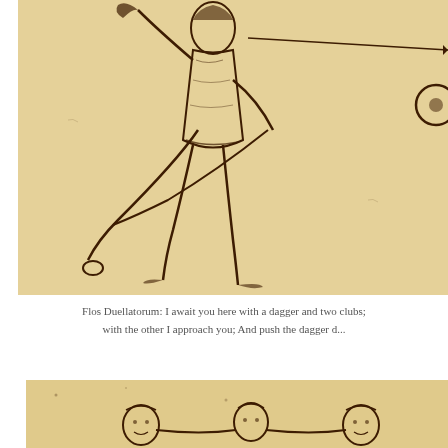[Figure (illustration): Medieval martial arts illustration from Flos Duellatorum showing a figure in fighting stance holding a dagger and two clubs/batons. The figure is drawn in sepia ink on aged parchment-colored background. A long staff/spear is shown horizontally in the upper right, and a circular object (shield or disc) appears at far right.]
Flos Duellatorum: I await you here with a dagger and two clubs; with the other I approach you; And push the dagger d...
[Figure (illustration): Partial medieval illustration at bottom of page showing figures in combat or grappling, drawn in sepia ink on aged parchment background. Only the top portion is visible.]